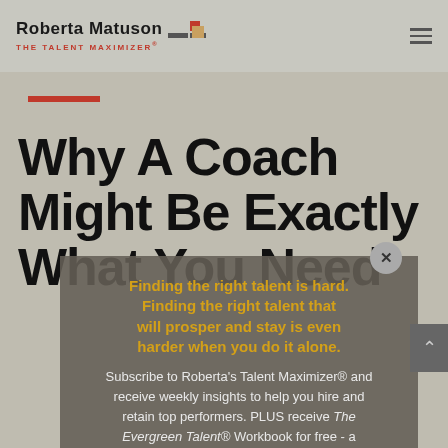[Figure (logo): Roberta Matuson The Talent Maximizer logo with geometric graphic in red and tan]
Why A Coach Might Be Exactly What You Need
Finding the right talent is hard. Finding the right talent that will prosper and stay is even harder when you do it alone.
Subscribe to Roberta's Talent Maximizer® and receive weekly insights to help you hire and retain top performers. PLUS receive The Evergreen Talent® Workbook for free - a